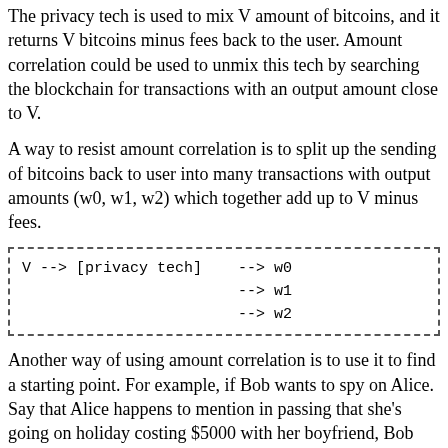The privacy tech is used to mix V amount of bitcoins, and it returns V bitcoins minus fees back to the user. Amount correlation could be used to unmix this tech by searching the blockchain for transactions with an output amount close to V.
A way to resist amount correlation is to split up the sending of bitcoins back to user into many transactions with output amounts (w0, w1, w2) which together add up to V minus fees.
[Figure (schematic): Code/diagram box showing: V --> [privacy tech]    --> w0
                         --> w1
                         --> w2]
Another way of using amount correlation is to use it to find a starting point. For example, if Bob wants to spy on Alice. Say that Alice happens to mention in passing that she's going on holiday costing $5000 with her boyfriend, Bob can search all transactions on the blockchain in the right time period and find transactions with output amounts close to $5000. Even if multiple matches are found it still gives Bob a good idea of which bitcoin addresses belong to Alice.
Timing correlation
Timing correlation refers to using the time information of